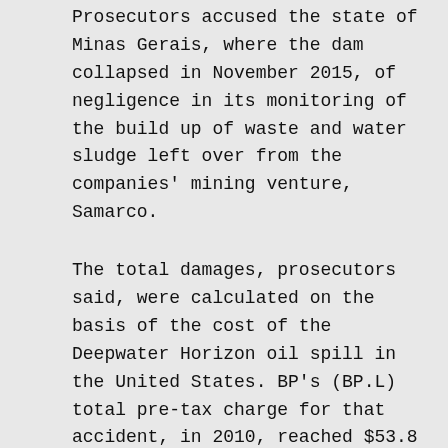Prosecutors accused the state of Minas Gerais, where the dam collapsed in November 2015, of negligence in its monitoring of the build up of waste and water sludge left over from the companies' mining venture, Samarco.
The total damages, prosecutors said, were calculated on the basis of the cost of the Deepwater Horizon oil spill in the United States. BP's (BP.L) total pre-tax charge for that accident, in 2010, reached $53.8 billion.
The Brazilian prosecutors also demanded an initial payment of 7.7 billion reais. A judge in Brazil now has to accept the lawsuit.
Analysts said the comparison with BP's oil spill would likely